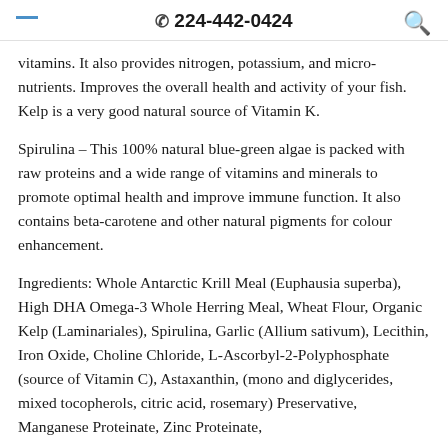224-442-0424
vitamins. It also provides nitrogen, potassium, and micro-nutrients. Improves the overall health and activity of your fish. Kelp is a very good natural source of Vitamin K.
Spirulina – This 100% natural blue-green algae is packed with raw proteins and a wide range of vitamins and minerals to promote optimal health and improve immune function. It also contains beta-carotene and other natural pigments for colour enhancement.
Ingredients: Whole Antarctic Krill Meal (Euphausia superba), High DHA Omega-3 Whole Herring Meal, Wheat Flour, Organic Kelp (Laminariales), Spirulina, Garlic (Allium sativum), Lecithin, Iron Oxide, Choline Chloride, L-Ascorbyl-2-Polyphosphate (source of Vitamin C), Astaxanthin, (mono and diglycerides, mixed tocopherols, citric acid, rosemary) Preservative, Manganese Proteinate, Zinc Proteinate,